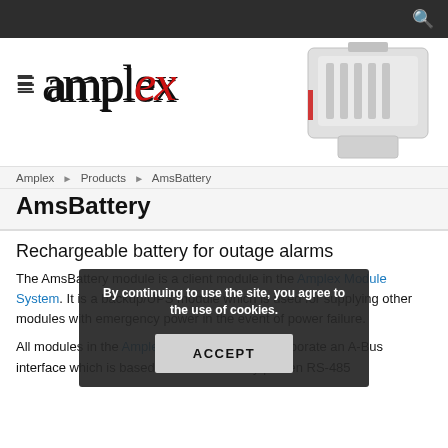[Figure (photo): Amplex logo with hamburger menu icon. Logo text: 'amplex' with red italic 'x'. A white network connector/module product image overlaid top right.]
Amplex › Products › AmsBattery
AmsBattery
Rechargeable battery for outage alarms
The AmsBattery module is a client module in the Amplex Module System. It is a backup/UPS module which is used for supplying other modules with emergency power in the event of power failure.
All modules in the Amplex Module System incorporate an A-Bus interface which is based on the industrially proven RS-485
By continuing to use the site, you agree to the use of cookies. ACCEPT